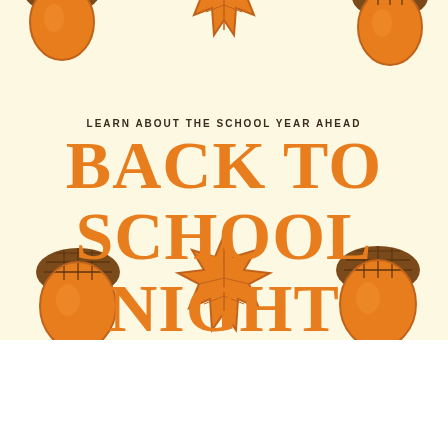[Figure (illustration): Autumn-themed poster background with cream/yellow background featuring illustrated acorns and maple leaves decorating the top and bottom borders]
LEARN ABOUT THE SCHOOL YEAR AHEAD
BACK TO SCHOOL NIGHT SEPT. 20
Back to School Night